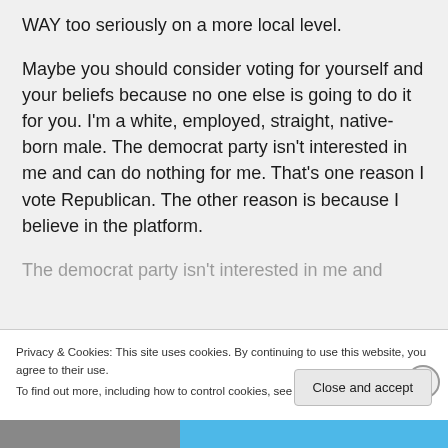WAY too seriously on a more local level.
Maybe you should consider voting for yourself and your beliefs because no one else is going to do it for you. I'm a white, employed, straight, native-born male. The democrat party isn't interested in me and can do nothing for me. That's one reason I vote Republican. The other reason is because I believe in the platform.
Privacy & Cookies: This site uses cookies. By continuing to use this website, you agree to their use.
To find out more, including how to control cookies, see here: Cookie Policy